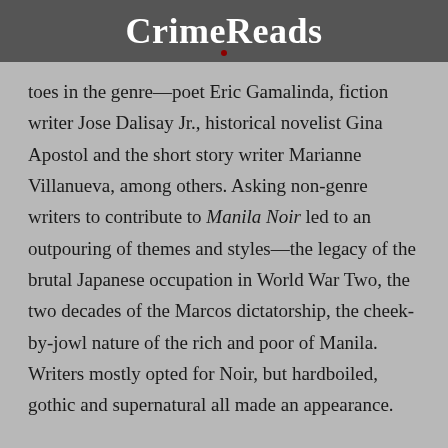CrimeReads
toes in the genre—poet Eric Gamalinda, fiction writer Jose Dalisay Jr., historical novelist Gina Apostol and the short story writer Marianne Villanueva, among others. Asking non-genre writers to contribute to Manila Noir led to an outpouring of themes and styles—the legacy of the brutal Japanese occupation in World War Two, the two decades of the Marcos dictatorship, the cheek-by-jowl nature of the rich and poor of Manila. Writers mostly opted for Noir, but hardboiled, gothic and supernatural all made an appearance.
The Duterte era is clearly going to be a new challenge for writers in Manila. The death and bloodshed on the